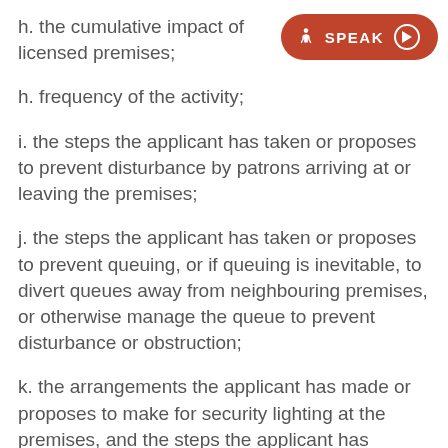h. the cumulative impact of licensed premises;
h. frequency of the activity;
i. the steps the applicant has taken or proposes to prevent disturbance by patrons arriving at or leaving the premises;
j. the steps the applicant has taken or proposes to prevent queuing, or if queuing is inevitable, to divert queues away from neighbouring premises, or otherwise manage the queue to prevent disturbance or obstruction;
k. the arrangements the applicant has made or proposes to make for security lighting at the premises, and the steps the applicant has